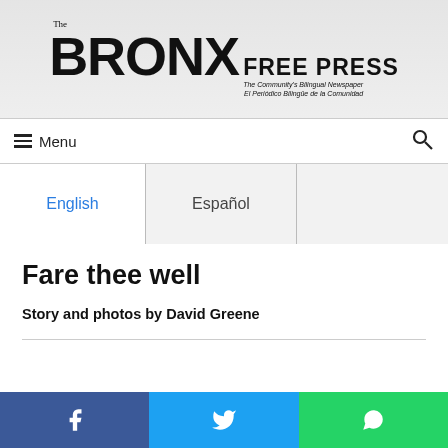The BRONX FREE PRESS — The Community's Bilingual Newspaper / El Periódico Bilingüe de la Comunidad
Menu
| English | Español |  |
| --- | --- | --- |
Fare thee well
Story and photos by David Greene